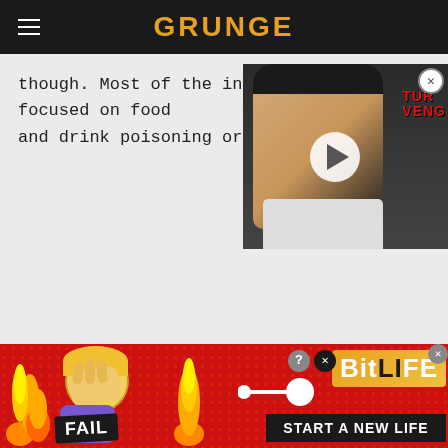GRUNGE
though. Most of the investigations were focused on food and drink poisoning or pesticid
[Figure (screenshot): Video thumbnail showing a smiling man in a suit with red text 'VENGE' on the right side, overlaid with a white circular play button. A close/X button appears in the top right corner.]
[Figure (screenshot): Advertisement banner for BitLife game showing FAIL badge, facepalm emoji, flame graphics, sperm icon, BitLife logo in gold/yellow, and 'START A NEW LIFE' button on dark background. Red dotted background pattern. Close and question mark buttons visible.]